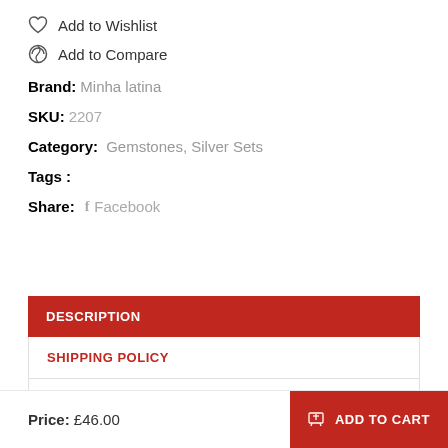Add to Wishlist
Add to Compare
Brand: Minha latina
SKU: 2207
Category: Gemstones, Silver Sets
Tags :
Share: f Facebook
DESCRIPTION
SHIPPING POLICY
RETURNS
Price: £46.00
ADD TO CART